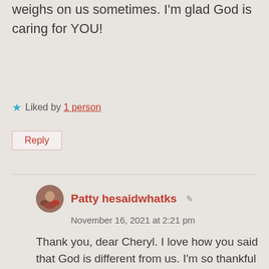weighs on us sometimes. I'm glad God is caring for YOU!
Liked by 1 person
Reply
Patty hesaidwhatks
November 16, 2021 at 2:21 pm
Thank you, dear Cheryl. I love how you said that God is different from us. I'm so thankful for that! And thankful for your encouragements and prayers. Rich blessings, my friend. ❤️